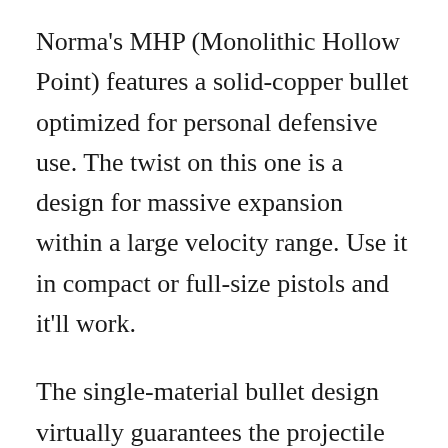Norma's MHP (Monolithic Hollow Point) features a solid-copper bullet optimized for personal defensive use. The twist on this one is a design for massive expansion within a large velocity range. Use it in compact or full-size pistols and it'll work.
The single-material bullet design virtually guarantees the projectile will remain intact and not fragment. Being all copper, the bullet weight is light-for-caliber at 108 grains, so maintaining structural integrity is important. This lightweight bullet and moderate velocity yields a hidden benefit: low recoil. It's noticeably milder than standard 9mm ammo. It's stunningly accurate